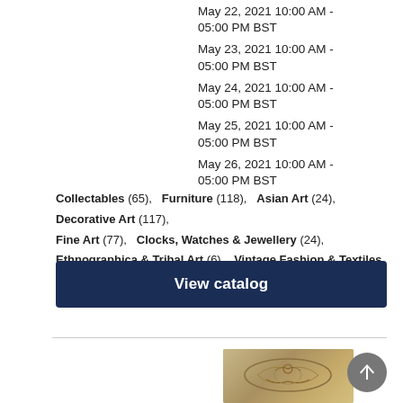May 22, 2021 10:00 AM - 05:00 PM BST
May 23, 2021 10:00 AM - 05:00 PM BST
May 24, 2021 10:00 AM - 05:00 PM BST
May 25, 2021 10:00 AM - 05:00 PM BST
May 26, 2021 10:00 AM - 05:00 PM BST
Collectables (65), Furniture (118), Asian Art (24), Decorative Art (117), Fine Art (77), Clocks, Watches & Jewellery (24), Ethnographica & Tribal Art (6), Vintage Fashion & Textiles (5)
View catalog
[Figure (photo): Silver decorative box with ornate embossed floral design on lid]